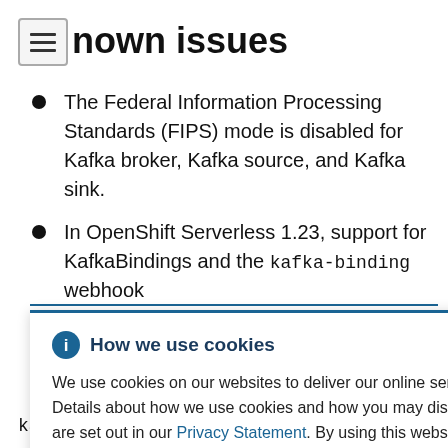Known issues
The Federal Information Processing Standards (FIPS) mode is disabled for Kafka broker, Kafka source, and Kafka sink.
In OpenShift Serverless 1.23, support for KafkaBindings and the kafka-binding webhook
urces.knat ration -source- ists.
ndings on
kafkabindings webhook kafka sources knat
How we use cookies — We use cookies on our websites to deliver our online services. Details about how we use cookies and how you may disable them are set out in our Privacy Statement. By using this website you agree to our use of cookies.